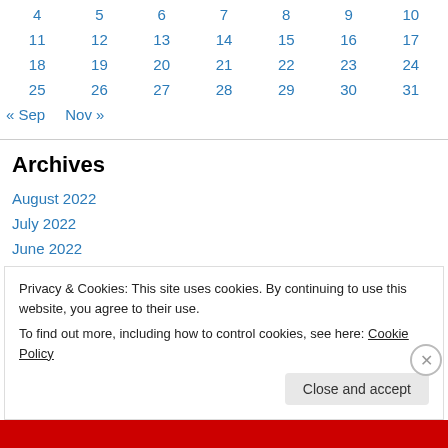| 4 | 5 | 6 | 7 | 8 | 9 | 10 |
| 11 | 12 | 13 | 14 | 15 | 16 | 17 |
| 18 | 19 | 20 | 21 | 22 | 23 | 24 |
| 25 | 26 | 27 | 28 | 29 | 30 | 31 |
« Sep   Nov »
Archives
August 2022
July 2022
June 2022
May 2022
Privacy & Cookies: This site uses cookies. By continuing to use this website, you agree to their use.
To find out more, including how to control cookies, see here: Cookie Policy
Close and accept